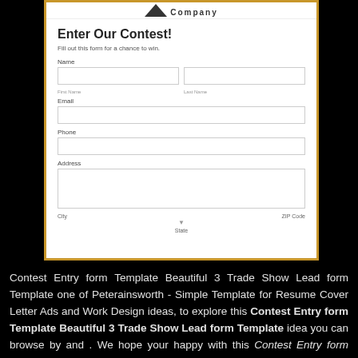[Figure (screenshot): Screenshot of a contest entry form with fields for Name (First Name, Last Name), Email, Phone, Address, City, State, ZIP Code. Has a golden border and company logo at top. Title reads 'Enter Our Contest!' with subtitle 'Fill out this form for a chance to win.']
Contest Entry form Template Beautiful 3 Trade Show Lead form Template one of Peterainsworth - Simple Template for Resume Cover Letter Ads and Work Design ideas, to explore this Contest Entry form Template Beautiful 3 Trade Show Lead form Template idea you can browse by and . We hope your happy with this Contest Entry form Template Beautiful 3 Trade Show Lead form Template idea. You can download and please